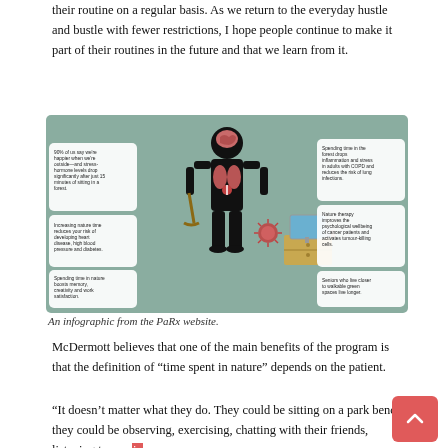their routine on a regular basis. As we return to the everyday hustle and bustle with fewer restrictions, I hope people continue to make it part of their routines in the future and that we learn from it.
[Figure (infographic): Infographic from the PaRx website showing a human figure with health benefits of spending time in nature. Left side callouts: '90% of us say we're happier when we're outside—and stress-hormone levels drop significantly after just 15 minutes of sitting in a forest.'; 'Increasing nature time reduces your risk of developing heart disease, high blood pressure and diabetes.'; 'Spending time in nature boosts memory, creativity and work satisfaction.' Right side callouts: 'Spending time in the forest drops inflammation and stress in adults with COPD and reduces the risk of lung infections.'; 'Nature therapy improves the psychological wellbeing of cancer patients and activates tumour-killing cells.'; 'Seniors who live closer to walkable green spaces live longer.']
An infographic from the PaRx website.
McDermott believes that one of the main benefits of the program is that the definition of “time spent in nature” depends on the patient.
“It doesn’t matter what they do. They could be sitting on a park bench, they could be observing, exercising, chatting with their friends, listening to music, eating out,” McDermott said.